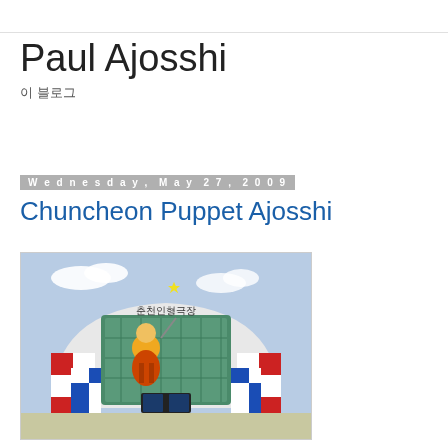Paul Ajosshi
이 블로그
Wednesday, May 27, 2009
Chuncheon Puppet Ajosshi
[Figure (photo): Exterior photo of a colorful building with red, white, and blue checkered pattern. A puppet/cartoon character mascot is prominently displayed on the facade. Korean text sign is at the top of the building.]